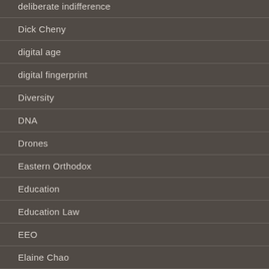deliberate indifference
Dick Cheny
digital age
digital fingerprint
Diversity
DNA
Drones
Eastern Orthodox
Education
Education Law
EEO
Elaine Chao
elephants, illegal ivory trade